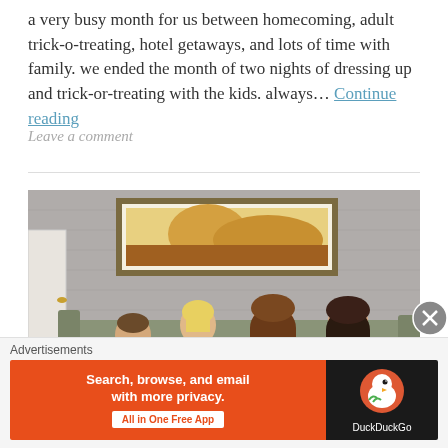a very busy month for us between homecoming, adult trick-o-treating, hotel getaways, and lots of time with family. we ended the month of two nights of dressing up and trick-or-treating with the kids. always… Continue reading
Leave a comment
[Figure (photo): Four children (two boys, two girls) sitting on a green sofa in a hotel room. There is a framed artwork on the wall behind them and a white door visible on the left side of the image.]
Advertisements
[Figure (infographic): DuckDuckGo advertisement banner: orange left panel reads 'Search, browse, and email with more privacy. All in One Free App' with a white button; dark right panel shows DuckDuckGo logo and name.]